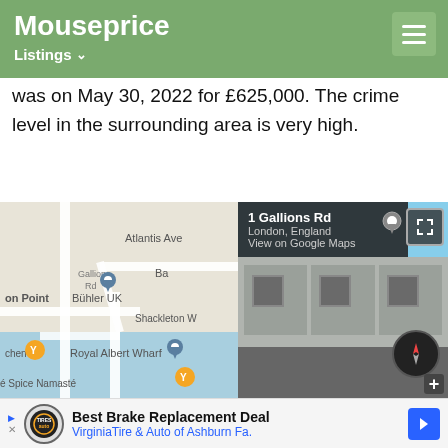Mouseprice — Listings
was on May 30, 2022 for £625,000. The crime level in the surrounding area is very high.
[Figure (map): Google Maps view of Gallions Rd area showing Bühler UK, Royal Albert Wharf, Atlantis Ave, Shackleton W, and nearby eateries]
[Figure (photo): Google Street View of 1 Gallions Rd, London, England showing a large grey industrial building facade, with compass and zoom controls]
1 Gallions Rd
London, England
View on Google Maps
Best Brake Replacement Deal — VirginiaTire & Auto of Ashburn Fa.